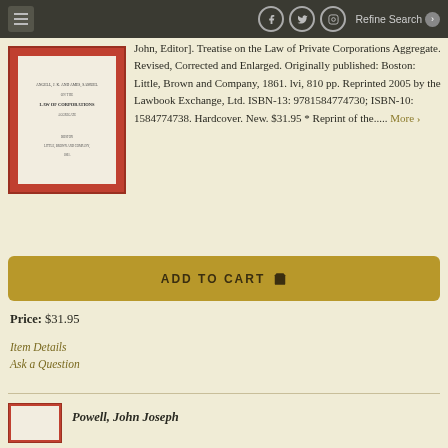Refine Search
[Figure (photo): Book cover thumbnail with red binding, showing a legal text about corporations]
John, Editor]. Treatise on the Law of Private Corporations Aggregate. Revised, Corrected and Enlarged. Originally published: Boston: Little, Brown and Company, 1861. lvi, 810 pp. Reprinted 2005 by the Lawbook Exchange, Ltd. ISBN-13: 9781584774730; ISBN-10: 1584774738. Hardcover. New. $31.95 * Reprint of the..... More ›
ADD TO CART 🛒
Price: $31.95
Item Details
Ask a Question
Powell, John Joseph